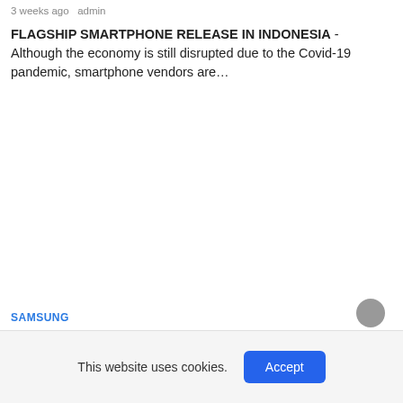3 weeks ago  admin
FLAGSHIP SMARTPHONE RELEASE IN INDONESIA - Although the economy is still disrupted due to the Covid-19 pandemic, smartphone vendors are…
SAMSUNG
This website uses cookies.
Accept